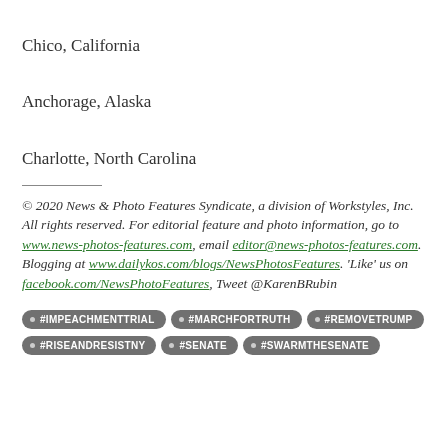Chico, California
Anchorage, Alaska
Charlotte, North Carolina
© 2020 News & Photo Features Syndicate, a division of Workstyles, Inc. All rights reserved. For editorial feature and photo information, go to www.news-photos-features.com, email editor@news-photos-features.com. Blogging at www.dailykos.com/blogs/NewsPhotosFeatures. 'Like' us on facebook.com/NewsPhotoFeatures, Tweet @KarenBRubin
#IMPEACHMENTTRIAL
#MARCHFORTRUTH
#REMOVETRUMP
#RISEANDRESISTNY
#SENATE
#SWARMTHESENATE